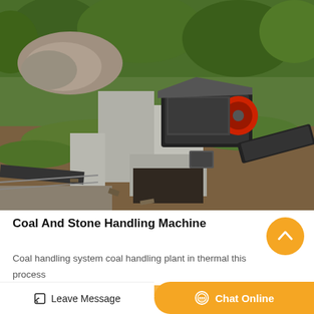[Figure (photo): Aerial view of a coal and stone crushing machine installation at an industrial site. Shows a jaw crusher (red and black machine) mounted on a concrete structure, with a conveyor belt extending to the right. Surrounding area has rubble, green trees, and construction debris.]
Coal And Stone Handling Machine
Coal handling system coal handling plant in thermal this process involves crushing the coal to a siz...